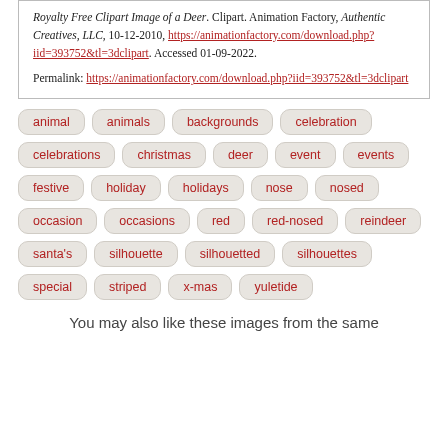Royalty Free Clipart Image of a Deer. Clipart. Animation Factory, Authentic Creatives, LLC, 10-12-2010, https://animationfactory.com/download.php?iid=393752&tl=3dclipart. Accessed 01-09-2022.

Permalink: https://animationfactory.com/download.php?iid=393752&tl=3dclipart
animal
animals
backgrounds
celebration
celebrations
christmas
deer
event
events
festive
holiday
holidays
nose
nosed
occasion
occasions
red
red-nosed
reindeer
santa's
silhouette
silhouetted
silhouettes
special
striped
x-mas
yuletide
You may also like these images from the same